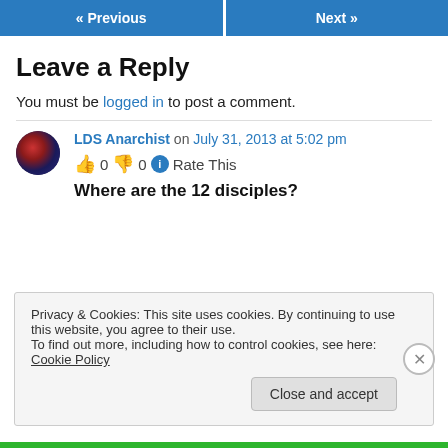« Previous   Next »
Leave a Reply
You must be logged in to post a comment.
LDS Anarchist on July 31, 2013 at 5:02 pm
👍 0 👎 0 ℹ Rate This
Where are the 12 disciples?
Privacy & Cookies: This site uses cookies. By continuing to use this website, you agree to their use. To find out more, including how to control cookies, see here: Cookie Policy
Close and accept